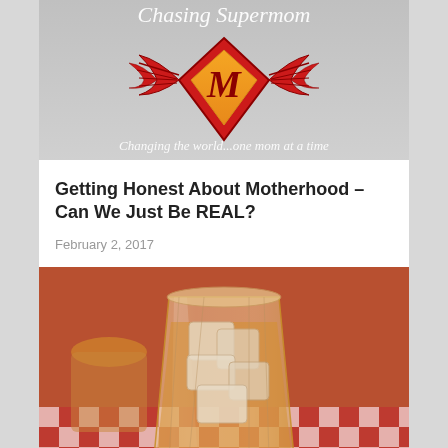[Figure (logo): Chasing Supermom blog logo with winged heart/diamond shape and cursive text reading 'Chasing Supermom' at top and 'Changing the world...one mom at a time' at bottom]
Getting Honest About Motherhood – Can We Just Be REAL?
February 2, 2017
[Figure (photo): Close-up photo of a glass filled with ice cubes and an amber/orange colored drink, sitting on a red and white checkered tablecloth, with another drink visible in the background]